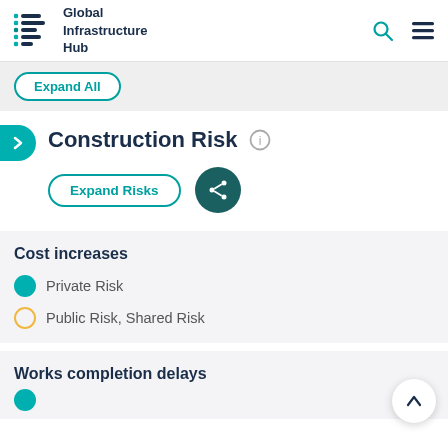Global Infrastructure Hub
Expand All
Construction Risk
Expand Risks
Cost increases
Private Risk
Public Risk, Shared Risk
Works completion delays